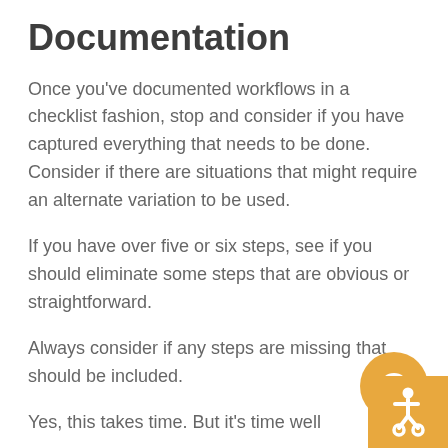Documentation
Once you've documented workflows in a checklist fashion, stop and consider if you have captured everything that needs to be done. Consider if there are situations that might require an alternate variation to be used.
If you have over five or six steps, see if you should eliminate some steps that are obvious or straightforward.
Always consider if any steps are missing that should be included.
Yes, this takes time. But it's time well